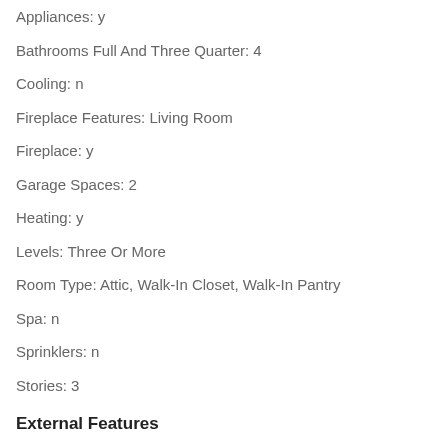Appliances: y
Bathrooms Full And Three Quarter: 4
Cooling: n
Fireplace Features: Living Room
Fireplace: y
Garage Spaces: 2
Heating: y
Levels: Three Or More
Room Type: Attic, Walk-In Closet, Walk-In Pantry
Spa: n
Sprinklers: n
Stories: 3
External Features